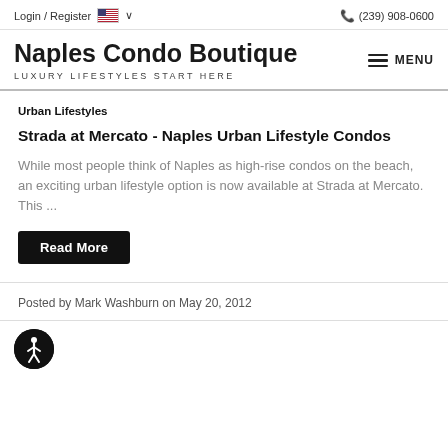Login / Register  [US Flag] ∨  ☎ (239) 908-0600
Naples Condo Boutique
LUXURY LIFESTYLES START HERE
Urban Lifestyles
Strada at Mercato - Naples Urban Lifestyle Condos
While most people think of Naples as high-rise condos on the beach, an exciting urban lifestyle option is now available at Strada at Mercato.  This ...
Read More
Posted by Mark Washburn on May 20, 2012